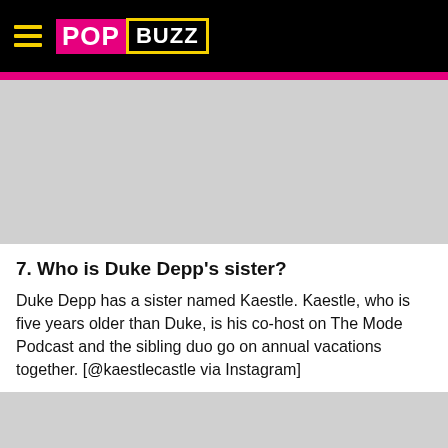PopBuzz
[Figure (photo): Gray placeholder image area where an article image would appear]
7. Who is Duke Depp's sister?
Duke Depp has a sister named Kaestle. Kaestle, who is five years older than Duke, is his co-host on The Mode Podcast and the sibling duo go on annual vacations together. [@kaestlecastle via Instagram]